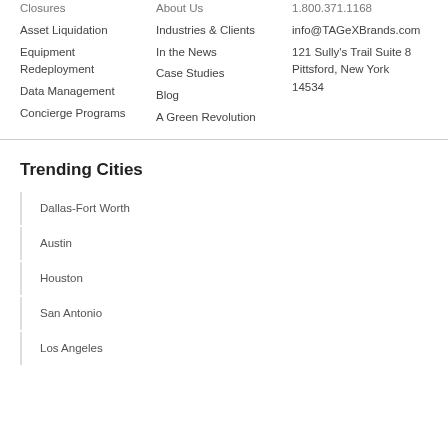Closures
Asset Liquidation
Equipment Redeployment
Data Management
Concierge Programs
About Us
Industries & Clients
In the News
Case Studies
Blog
A Green Revolution
1.800.371.1168
info@TAGeXBrands.com
121 Sully's Trail Suite 8 Pittsford, New York 14534
Trending Cities
Dallas-Fort Worth
Austin
Houston
San Antonio
Los Angeles